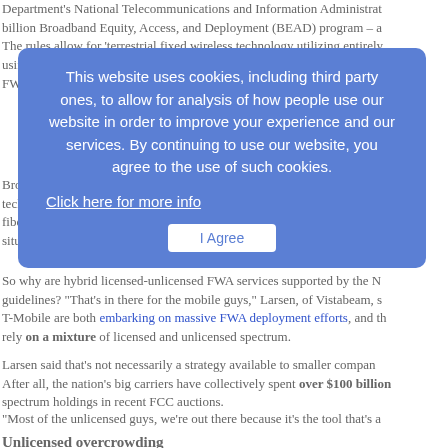Department's National Telecommunications and Information Administra-billion Broadband Equity, Access, and Deployment (BEAD) program – The rules allow for 'terrestrial fixed wireless technology utilizing entirely using a hybrid of licensed and unlicensed spectrum.' But the guidelines FW...
[Figure (screenshot): Cookie consent overlay with blue background. Text reads: 'This website uses cookies, including third party ones, to allow for analysis of how people use our website in order to improve your experience and our services. By continuing to use our website, you agree to the use of such cookies.' With a 'Click here for more info' link and an 'I Agree' button.]
Broadly, the guidelines indicate a preference for fiber networks. Fiber adv-technology that can scale with evolving user fiber-competitors have argued the technology is expensive and time cons-situation that may leave large swaths of the US unconnected for years.
So why are hybrid licensed-unlicensed FWA services supported by the NTIA guidelines? "That's in there for the mobile guys," Larsen, of Vistabeam, s-T-Mobile are both embarking on massive FWA deployment efforts, and th-rely on a mixture of licensed and unlicensed spectrum.
Larsen said that's not necessarily a strategy available to smaller compan-After all, the nation's big carriers have collectively spent over $100 billion spectrum holdings in recent FCC auctions.
"Most of the unlicensed guys, we're out there because it's the tool that's a
Unlicensed overcrowding
An argument often raised against operations in unlicensed spectrum is th-aren't as protected as they would be in licensed spectrum, since anyone spectrum. After all, a spectrum license specifically prevents anyone but t-the band covered by the license. On the other hand, FWA advocates ha